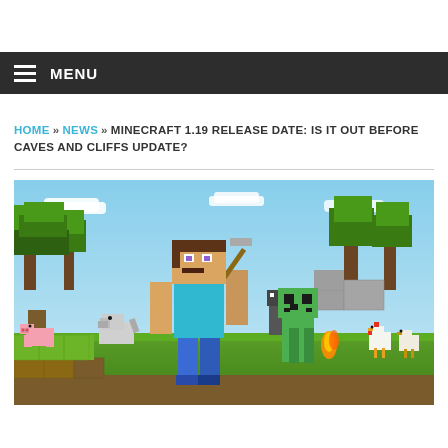MENU
HOME » NEWS » MINECRAFT 1.19 RELEASE DATE: IS IT OUT BEFORE CAVES AND CLIFFS UPDATE?
[Figure (photo): Minecraft game screenshot showing Steve character walking with various mobs including a creeper, pig, wolf, and chickens in a blocky green landscape with trees]